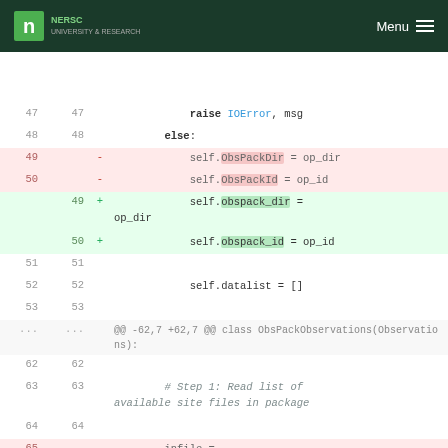NERSC UNIVERSITY & RESEARCH  Menu
[Figure (screenshot): Code diff view showing Python source changes. Lines 47-53 and 62-65 visible. Lines 49-50 are deleted (red background) showing self.ObsPackDir and self.ObsPackId assignments. Lines 49-50 added (green background) showing self.obspack_dir and self.obspack_id assignments. Lines 62-65 show class ObsPackObservations context and infile assignment.]